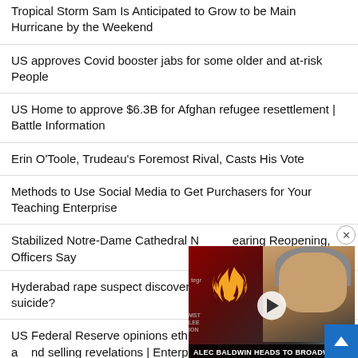Tropical Storm Sam Is Anticipated to Grow to be Main Hurricane by the Weekend
US approves Covid booster jabs for some older and at-risk People
US Home to approve $6.3B for Afghan refugee resettlement | Battle Information
Erin O'Toole, Trudeau's Foremost Rival, Casts His Vote
Methods to Use Social Media to Get Purchasers for Your Teaching Enterprise
Stabilized Notre-Dame Cathedral Nearing Reopening, Officers Say
Hyderabad rape suspect discovered dead — suicide?
US Federal Reserve opinions ethics guidelines after buying and selling revelations | Enterprise and Financial system Information
[Figure (screenshot): Video overlay showing a man (Alec Baldwin) being interviewed, with Comedy Central flame logo, a play button, and caption 'ALEC BALDWIN HEADS TO BROADWAY IN FIRST JOB SINCE RUST SHOOTING']